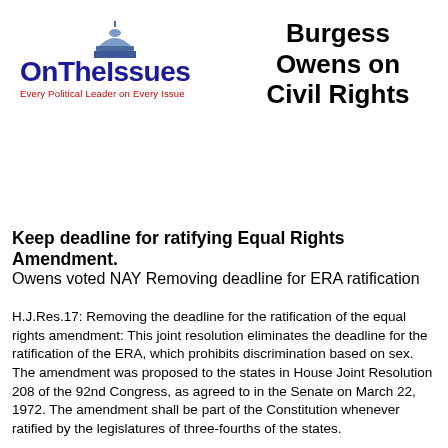[Figure (logo): OnTheIssues logo — stylized US Capitol dome in blue/grey above text 'OnTheIssues' in dark blue bold, with tagline 'Every Political Leader on Every Issue' in red below]
Burgess Owens on Civil Rights
Keep deadline for ratifying Equal Rights Amendment.
Owens voted NAY Removing deadline for ERA ratification
H.J.Res.17: Removing the deadline for the ratification of the equal rights amendment: This joint resolution eliminates the deadline for the ratification of the ERA, which prohibits discrimination based on sex. The amendment was proposed to the states in House Joint Resolution 208 of the 92nd Congress, as agreed to in the Senate on March 22, 1972. The amendment shall be part of the Constitution whenever ratified by the legislatures of three-fourths of the states.